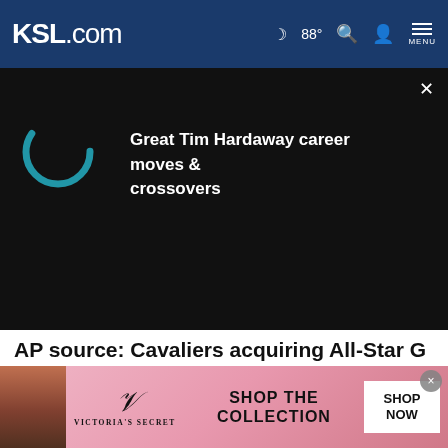KSL.com  88°  MENU
[Figure (screenshot): Video player overlay on dark background showing a loading spinner (teal arc) and text: 'Great Tim Hardaway career moves & crossovers']
AP source: Cavaliers acquiring All-Star G Mitchell from Jazz
ADVERTISEMENT
Cookie Notice
We use cookies to improve your experience, analyze site traffic, and to personalize content and ads. By continuing to use our site, you consent to our use of cookies. Please visit our Terms of Use and Privacy Policy for more information
[Figure (photo): Victoria's Secret advertisement banner with woman model, VS logo, 'SHOP THE COLLECTION' text, and 'SHOP NOW' button]